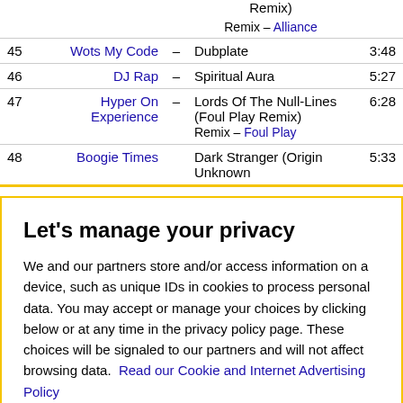| # | Artist |  | Title | Duration |
| --- | --- | --- | --- | --- |
|  |  |  | Remix) |  |
|  |  | Remix – | Alliance |  |
| 45 | Wots My Code | – | Dubplate | 3:48 |
| 46 | DJ Rap | – | Spiritual Aura | 5:27 |
| 47 | Hyper On Experience | – | Lords Of The Null-Lines (Foul Play Remix)
Remix – Foul Play | 6:28 |
| 48 | Boogie Times |  | Dark Stranger (Origin Unknown | 5:33 |
Let's manage your privacy
We and our partners store and/or access information on a device, such as unique IDs in cookies to process personal data. You may accept or manage your choices by clicking below or at any time in the privacy policy page. These choices will be signaled to our partners and will not affect browsing data. Read our Cookie and Internet Advertising Policy
Cookies Settings | Accept All Cookies